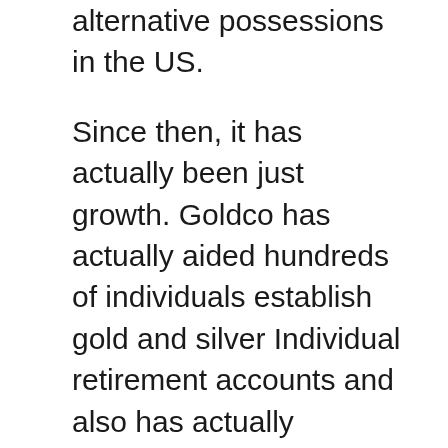alternative possessions in the US.
Since then, it has actually been just growth. Goldco has actually aided hundreds of individuals establish gold and silver Individual retirement accounts and also has actually remained to supply specific coins as well as bars to clients for private investments. Goldco has also started a sis business that is focused on cryptocurrency IRAs for customers curious about this alternative form of investing.
Goldco has placed such a high focus on giving their clients with the instructional devices they require to make good selections about their gold individual retirement account investments that these IRAs now